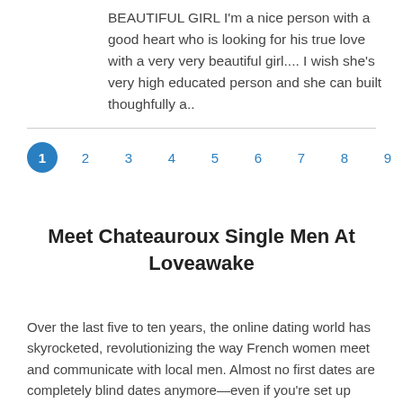BEAUTIFUL GIRL I'm a nice person with a good heart who is looking for his true love with a very very beautiful girl.... I wish she's very high educated person and she can built thoughfully a..
[Figure (other): Pagination control showing pages 1 through 9 with ellipsis, page 1 highlighted in blue circle]
Meet Chateauroux Single Men At Loveawake
Over the last five to ten years, the online dating world has skyrocketed, revolutionizing the way French women meet and communicate with local men. Almost no first dates are completely blind dates anymore—even if you're set up and don't meet through Chateauroux dating service, you can usually dig up information one way or another about a first date, thanks to...